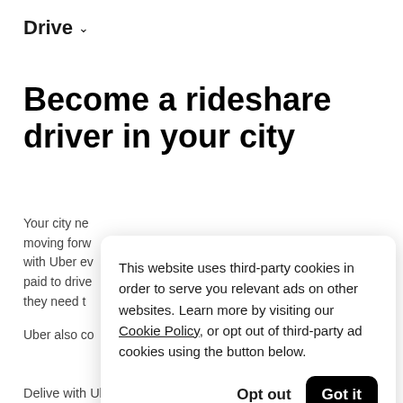Drive ˅
Become a rideshare driver in your city
Your city ne moving forw with Uber ev paid to drive they need t
Uber also co
This website uses third-party cookies in order to serve you relevant ads on other websites. Learn more by visiting our Cookie Policy, or opt out of third-party ad cookies using the button below.
Opt out  Got it
Delive with Uber Eat...